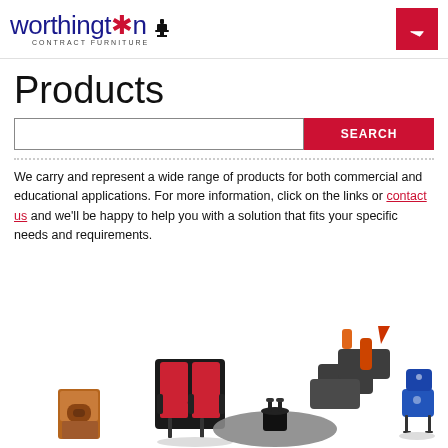[Figure (logo): Worthington Contract Furniture logo with blue text, red star, and chair icon]
Products
We carry and represent a wide range of products for both commercial and educational applications. For more information, click on the links or contact us and we'll be happy to help you with a solution that fits your specific needs and requirements.
[Figure (photo): Product images showing auditorium seating in red and black, modular soft seating in dark gray with orange accents, a wooden podium/lectern, an oval conference table with black base, and a blue student chair]